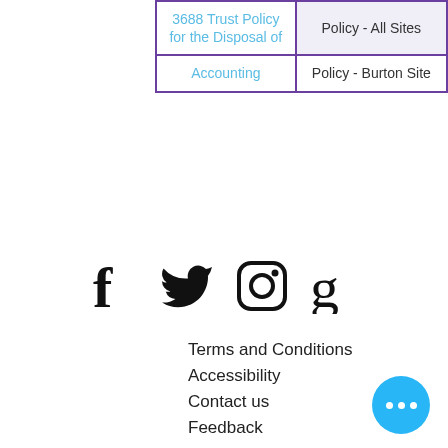| 3688 Trust Policy for the Disposal of | Policy - All Sites |
| Accounting | Policy - Burton Site |
[Figure (illustration): Social media icons: Facebook, Twitter, Instagram, Goodreads]
Terms and Conditions
Accessibility
Contact us
Feedback
[Figure (logo): LKS Library and Knowledge Service logo - two overlapping diamonds in purple and teal]
[Figure (logo): Exceptional Care Together logo - circular text with heart/hands graphic]